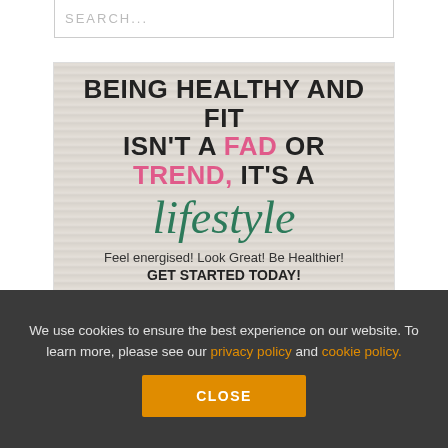[Figure (screenshot): Search bar UI element with placeholder text SEARCH...]
[Figure (illustration): Promotional health and lifestyle image on wood-grain background. Text reads: BEING HEALTHY AND FIT ISN'T A FAD OR TREND, IT'S A lifestyle. Feel energised! Look Great! Be Healthier! GET STARTED TODAY!]
We use cookies to ensure the best experience on our website. To learn more, please see our privacy policy and cookie policy.
CLOSE